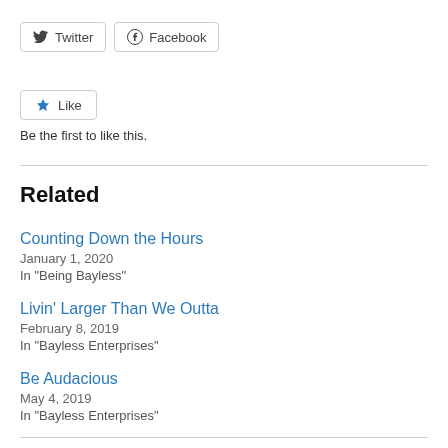Twitter | Facebook (share buttons)
Like
Be the first to like this.
Related
Counting Down the Hours
January 1, 2020
In "Being Bayless"
Livin' Larger Than We Outta
February 8, 2019
In "Bayless Enterprises"
Be Audacious
May 4, 2019
In "Bayless Enterprises"